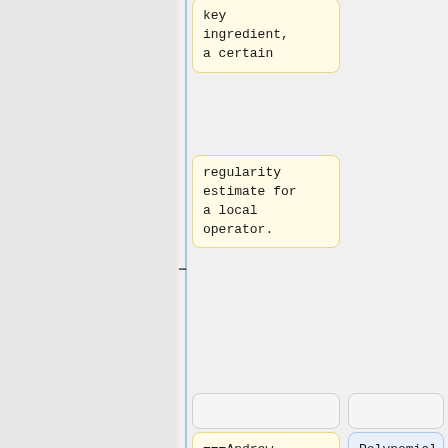key ingredient, a certain
regularity estimate for a local operator.
===Andrew Zimmer===
Polynomial averages and pointwise ergodic theorems on nilpotent groups
Title: Complex analytic
I will talk about some recent work